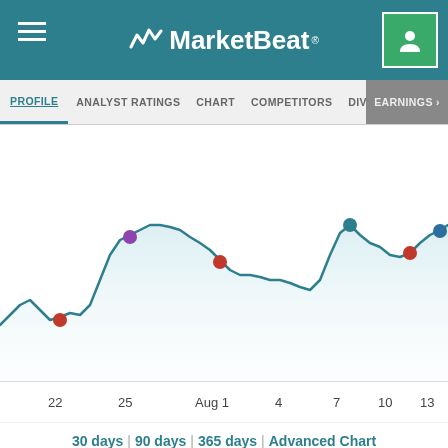MarketBeat
PROFILE | ANALYST RATINGS | CHART | COMPETITORS | DIVIDEND | EARNINGS
[Figure (line-chart): Line chart showing stock price over time from July 22 to August 13, with colored dot markers at key points]
30 days | 90 days | 365 days | Advanced Chart